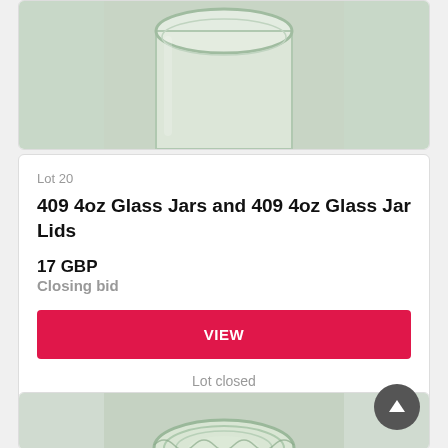[Figure (photo): Partial top of a glass jar visible at top of page, cropped card]
Lot 20
409 4oz Glass Jars and 409 4oz Glass Jar Lids
17 GBP
Closing bid
VIEW
Lot closed
Lot location: Northants, Northampton
[Figure (photo): Photo of glass jar opening viewed from above, showing rim and threads, partial card at bottom of page]